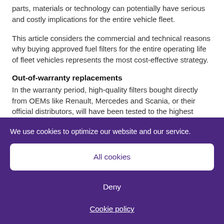parts, materials or technology can potentially have serious and costly implications for the entire vehicle fleet.
This article considers the commercial and technical reasons why buying approved fuel filters for the entire operating life of fleet vehicles represents the most cost-effective strategy.
Out-of-warranty replacements
In the warranty period, high-quality filters bought directly from OEMs like Renault, Mercedes and Scania, or their official distributors, will have been tested to the highest
We use cookies to optimize our website and our service.
All cookies
Deny
Cookie policy